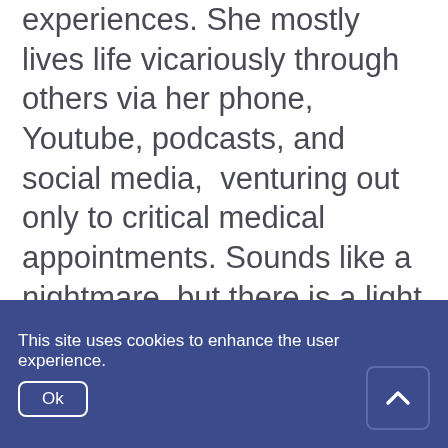experiences. She mostly lives life vicariously through others via her phone, Youtube, podcasts, and social media,  venturing out only to critical medical appointments. Sounds like a nightmare, but there is a light in this story because of Polarity!  Polarity movement, daily trigger point therapy and polarity protocols, cranial sacral techniques, clearing of energy tissues using all the types of touch from Polarity, manipulation and
This site uses cookies to enhance the user experience.
Ok